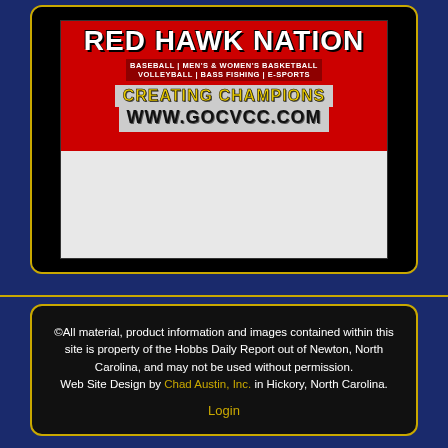[Figure (illustration): Red Hawk Nation sports advertisement banner with red and black background, showing 'RED HAWK NATION' title, sports list (Baseball, Men's & Women's Basketball, Volleyball, Bass Fishing, E-Sports), 'CREATING CHAMPIONS' tagline and 'www.gocvcc.com' URL]
©All material, product information and images contained within this site is property of the Hobbs Daily Report out of Newton, North Carolina, and may not be used without permission. Web Site Design by Chad Austin, Inc. in Hickory, North Carolina.
Login